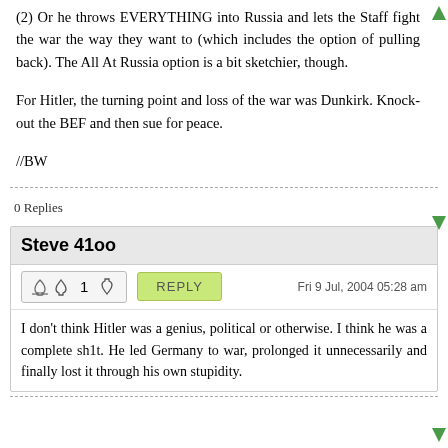(2) Or he throws EVERYTHING into Russia and lets the Staff fight the war the way they want to (which includes the option of pulling back). The All At Russia option is a bit sketchier, though.
For Hitler, the turning point and loss of the war was Dunkirk. Knock-out the BEF and then sue for peace.
//BW
0 Replies
Steve 41oo
1   REPLY   Fri 9 Jul, 2004 05:28 am
I don't think Hitler was a genius, political or otherwise. I think he was a complete sh1t. He led Germany to war, prolonged it unnecessarily and finally lost it through his own stupidity.